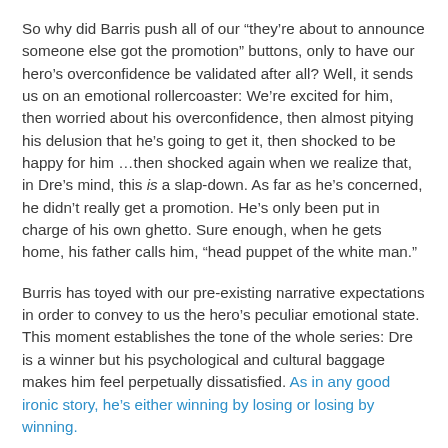So why did Barris push all of our “they’re about to announce someone else got the promotion” buttons, only to have our hero’s overconfidence be validated after all? Well, it sends us on an emotional rollercoaster: We’re excited for him, then worried about his overconfidence, then almost pitying his delusion that he’s going to get it, then shocked to be happy for him …then shocked again when we realize that, in Dre’s mind, this is a slap-down. As far as he’s concerned, he didn’t really get a promotion. He’s only been put in charge of his own ghetto. Sure enough, when he gets home, his father calls him, “head puppet of the white man.”
Burris has toyed with our pre-existing narrative expectations in order to convey to us the hero’s peculiar emotional state. This moment establishes the tone of the whole series: Dre is a winner but his psychological and cultural baggage makes him feel perpetually dissatisfied. As in any good ironic story, he’s either winning by losing or losing by winning.
It’s always good to hurt your hero in ways that would only hurt your hero, because then you have a unique and volatile